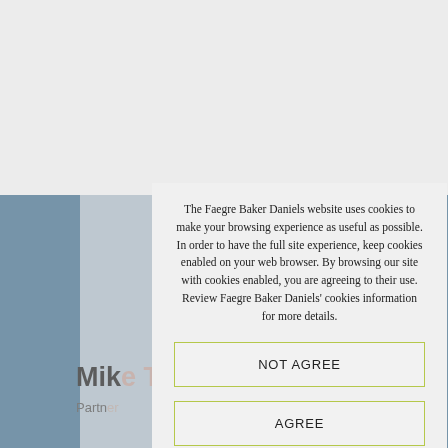[Figure (screenshot): Background webpage showing a profile page for Mike T. Gustafson (Partner) on the Faegre Baker Daniels website, with blue sidebar elements and a profile photo silhouette.]
The Faegre Baker Daniels website uses cookies to make your browsing experience as useful as possible. In order to have the full site experience, keep cookies enabled on your web browser. By browsing our site with cookies enabled, you are agreeing to their use. Review Faegre Baker Daniels' cookies information for more details.
NOT AGREE
AGREE